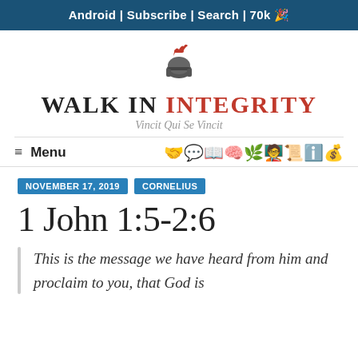Android | Subscribe | Search | 70k 🎉
[Figure (illustration): Red-plumed Roman centurion helmet logo]
WALK IN INTEGRITY
Vincit Qui Se Vincit
≡ Menu
NOVEMBER 17, 2019   CORNELIUS
1 John 1:5-2:6
This is the message we have heard from him and proclaim to you, that God is